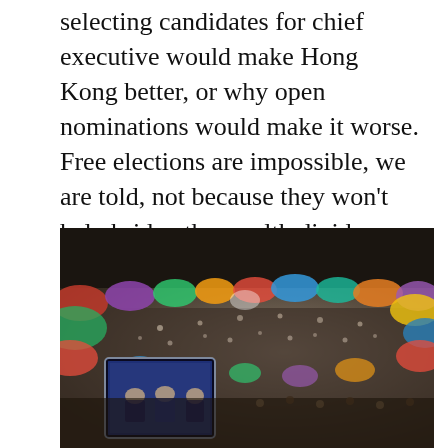selecting candidates for chief executive would make Hong Kong better, or why open nominations would make it worse. Free elections are impossible, we are told, not because they won't help bridge the wealth divide or sustain our way of life, but simply because Leung's bosses say so.
[Figure (photo): Aerial view of a large crowd of protesters with colorful tents set up in an outdoor area, with a TV screen visible in the lower left showing what appears to be a news broadcast or government meeting. This appears to be from the 2014 Hong Kong pro-democracy protests (Umbrella Movement).]